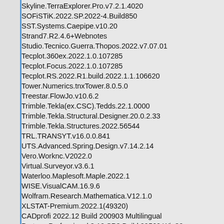Skyline.TerraExplorer.Pro.v7.2.1.4020
SOFiSTiK.2022.SP.2022-4.Build850
SST.Systems.Caepipe.v10.20
Strand7.R2.4.6+Webnotes
Studio.Tecnico.Guerra.Thopos.2022.v7.07.01
Tecplot.360ex.2022.1.0.107285
Tecplot.Focus.2022.1.0.107285
Tecplot.RS.2022.R1.build.2022.1.1.106620
Tower.Numerics.tnxTower.8.0.5.0
Treestar.FlowJo.v10.6.2
Trimble.Tekla(ex.CSC).Tedds.22.1.0000
Trimble.Tekla.Structural.Designer.20.0.2.33
Trimble.Tekla.Structures.2022.56544
TRL.TRANSYT.v16.0.0.841
UTS.Advanced.Spring.Design.v7.14.2.14
Vero.Worknc.V2022.0
Virtual.Surveyor.v3.6.1
Waterloo.Maplesoft.Maple.2022.1
WISE.VisualCAM.16.9.6
Wolfram.Research.Mathematica.V12.1.0
XLSTAT-Premium.2022.1(49320)
CADprofi 2022.12 Build 200903 Multilingual
Proteus Professional 8.10 SP3 Build 29560 Win32
ANSYS Motor-CAD v13.1.13
Finite.Element.Analysis.LUSAS.Academic.v10...